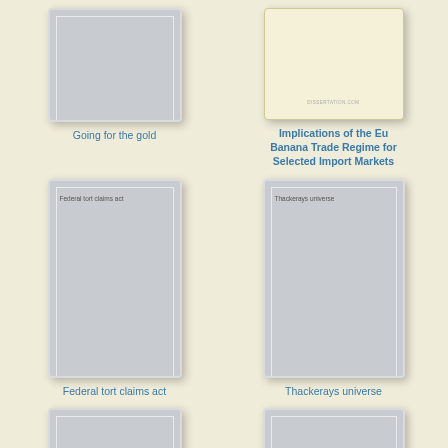[Figure (illustration): Book cover thumbnail - gray blank cover for 'Going for the gold']
Going for the gold
[Figure (illustration): Book cover thumbnail - cream colored cover for 'Implications of the Eu Banana Trade Regime for Selected Import Markets' with dissertation.com watermark]
Implications of the Eu Banana Trade Regime for Selected Import Markets
[Figure (illustration): Book cover thumbnail - gray cover with text 'Federal tort claims act']
Federal tort claims act
[Figure (illustration): Book cover thumbnail - gray cover with text 'Thackerays universe']
Thackerays universe
[Figure (illustration): Book cover thumbnail - partial gray cover at bottom left]
[Figure (illustration): Book cover thumbnail - partial gray cover at bottom right]